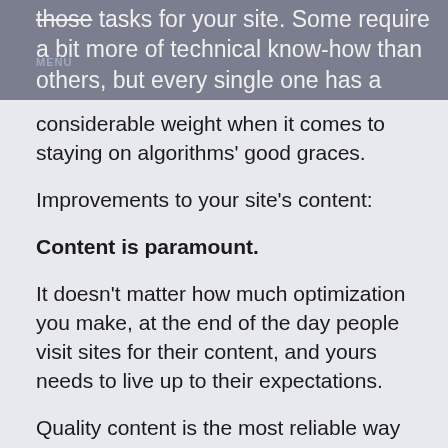those tasks for your site. Some require a bit more of technical know-how than others, but every single one has a
considerable weight when it comes to staying on algorithms' good graces.
Improvements to your site's content:
Content is paramount.
It doesn't matter how much optimization you make, at the end of the day people visit sites for their content, and yours needs to live up to their expectations.
Quality content is the most reliable way to increase your website's prominence in SERPs over time organically, and the best way to ensure that once someone sees your site, they'll want to come back.